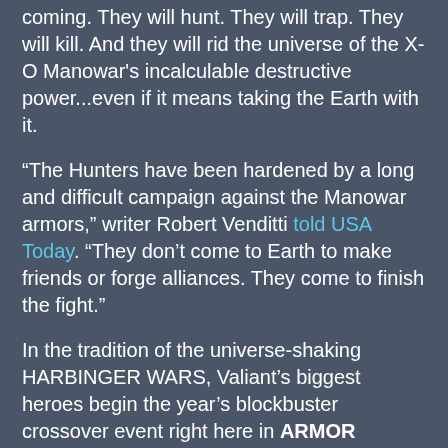coming. They will hunt. They will trap. They will kill. And they will rid the universe of the X-O Manowar's incalculable destructive power...even if it means taking the Earth with it.
“The Hunters have been hardened by a long and difficult campaign against the Manowar armors,” writer Robert Venditti told USA Today. “They don’t come to Earth to make friends or forge alliances. They come to finish the fight.”
In the tradition of the universe-shaking HARBINGER WARS, Valiant’s biggest heroes begin the year’s blockbuster crossover event right here in ARMOR HUNTERS #1 (of 4) – and then launch the resistance against the world’s first full-scale cosmic threat with new arcs beginning in UNITY #8 and X-O MANOWAR #26 in June; and ARMOR HUNTERS: BLOODSHOT #1 (of 3) and ARMOR HUNTERS: HARBINGER #1 (of 3) in June; and...